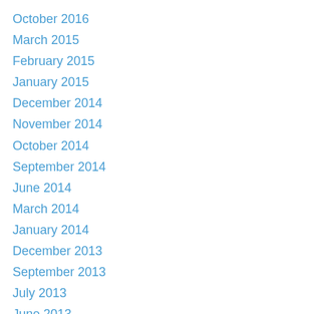October 2016
March 2015
February 2015
January 2015
December 2014
November 2014
October 2014
September 2014
June 2014
March 2014
January 2014
December 2013
September 2013
July 2013
June 2013
May 2013
April 2013
February 2013
January 2013
December 2012